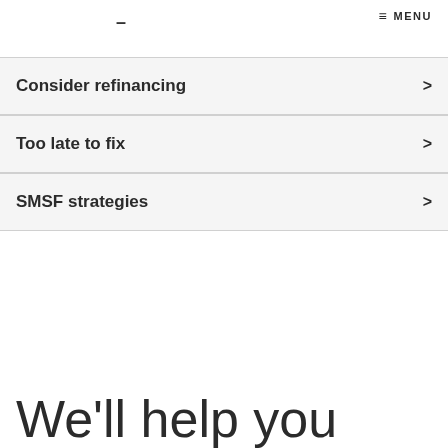- MENU
Consider refinancing
Too late to fix
SMSF strategies
We'll help you